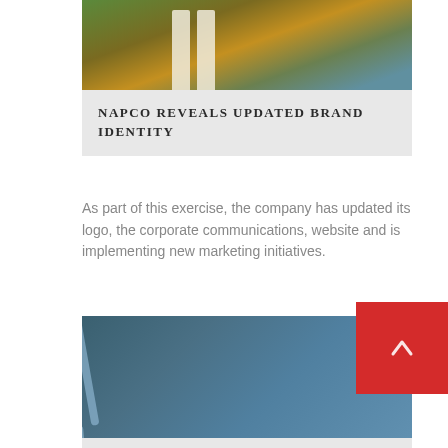[Figure (photo): Outdoor scene with classical columns/pillars framing a coastal cliff and ocean background with warm golden and green tones]
NAPCO REVEALS UPDATED BRAND IDENTITY
As part of this exercise, the company has updated its logo, the corporate communications, website and is implementing new marketing initiatives.
[Figure (photo): Close-up of transparent adhesive or polymer filaments/strands on a blue-gray background, with a red back-to-top arrow button overlaid in the upper right]
ADHESIVES, SEALANTS & BONDING